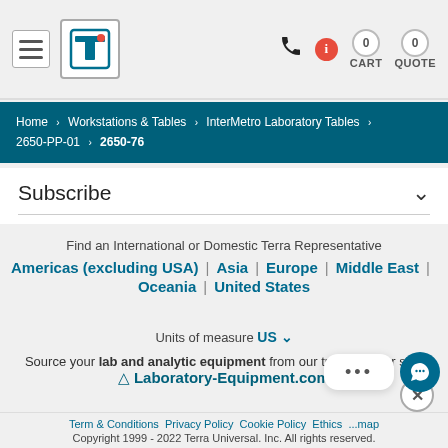Terra Universal header with hamburger menu, logo, phone, info, cart (0), quote (0)
Home > Workstations & Tables > InterMetro Laboratory Tables > 2650-PP-01 > 2650-76
Subscribe
Find an International or Domestic Terra Representative
Americas (excluding USA) | Asia | Europe | Middle East | Oceania | United States
Units of measure US
Source your lab and analytic equipment from our trusted sister site.
Laboratory-Equipment.com
Term & Conditions  Privacy Policy  Cookie Policy  Ethics  ...map  Copyright 1999 - 2022 Terra Universal. Inc. All rights reserved.